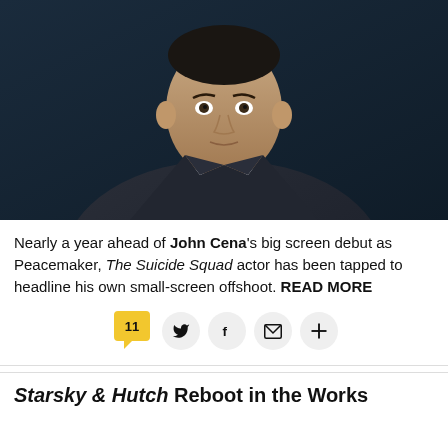[Figure (photo): A muscular man in a dark suit with a yellow tie against a dark blue background, shot from chest up, looking directly at camera.]
Nearly a year ahead of John Cena's big screen debut as Peacemaker, The Suicide Squad actor has been tapped to headline his own small-screen offshoot. READ MORE
[Figure (infographic): Social sharing bar with comment count 11 (yellow speech bubble), Twitter bird icon, Facebook f icon, email envelope icon, and plus icon, all in light grey circular buttons.]
Starsky & Hutch Reboot in the Works